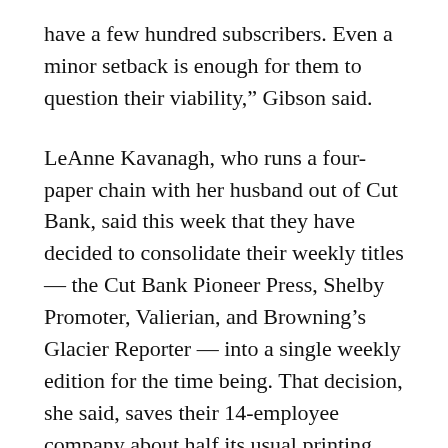have a few hundred subscribers. Even a minor setback is enough for them to question their viability," Gibson said.
LeAnne Kavanagh, who runs a four-paper chain with her husband out of Cut Bank, said this week that they have decided to consolidate their weekly titles — the Cut Bank Pioneer Press, Shelby Promoter, Valierian, and Browning's Glacier Reporter — into a single weekly edition for the time being. That decision, she said, saves their 14-employee company about half its usual printing bill.
With non-essential businesses shuttered and sporting events cancelled in the communities their papers cover, Kavanagh said the revenue coming in